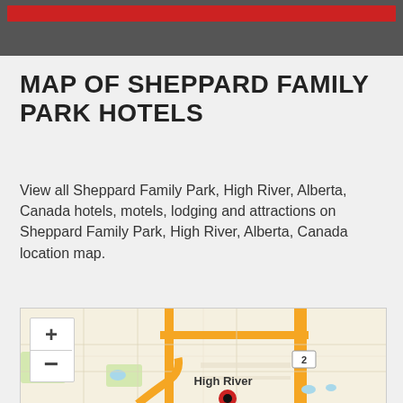MAP OF SHEPPARD FAMILY PARK HOTELS
View all Sheppard Family Park, High River, Alberta, Canada hotels, motels, lodging and attractions on Sheppard Family Park, High River, Alberta, Canada location map.
[Figure (map): Interactive map showing Sheppard Family Park area in High River, Alberta, Canada. Map includes zoom controls (+/-), road network, a label reading 'High River', a highway 2 marker, and a red location pin marker in the lower center of the map.]